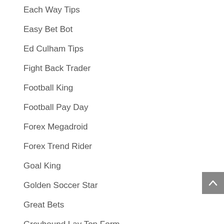Each Way Tips
Easy Bet Bot
Ed Culham Tips
Fight Back Trader
Football King
Football Pay Day
Forex Megadroid
Forex Trend Rider
Goal King
Golden Soccer Star
Great Bets
Greyhound Lay Top Form
Handicap Trade Secrets
Horse Network Tipster